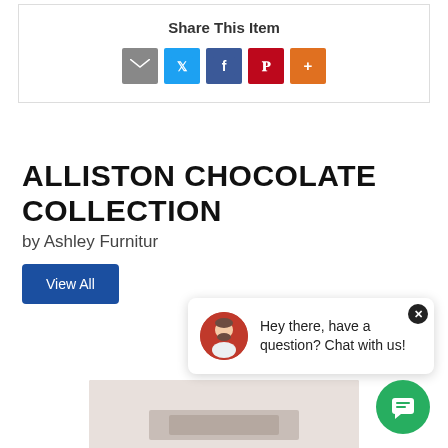Share This Item
[Figure (infographic): Row of social sharing icons: email (grey), Twitter (blue), Facebook (dark blue), Pinterest (red), More (orange)]
ALLISTON CHOCOLATE COLLECTION
by Ashley Furniture
View All
[Figure (screenshot): Chat popup widget: avatar icon, text 'Hey there, have a question? Chat with us!', close button, and green FAB chat button]
[Figure (photo): Bottom portion of a product photo showing a piece of furniture on a light background]